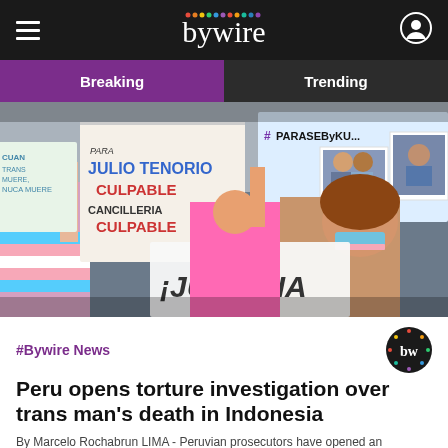bywire
Breaking | Trending
[Figure (photo): Protest scene with people holding signs reading 'JULIO TENORIO CULPABLE CANCILLERIA CULPABLE', '¡JUSTICIA', and '#PARASEByKU...' with photos of victims]
#Bywire News
Peru opens torture investigation over trans man's death in Indonesia
By Marcelo Rochabrun LIMA - Peruvian prosecutors have opened an